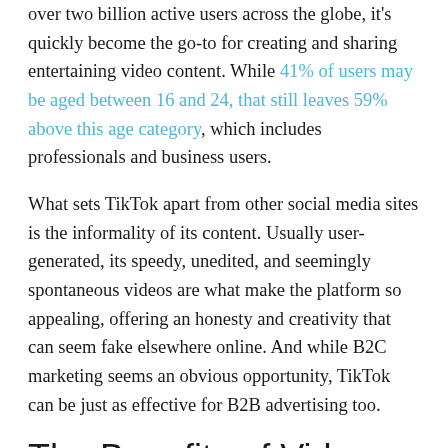over two billion active users across the globe, it's quickly become the go-to for creating and sharing entertaining video content. While 41% of users may be aged between 16 and 24, that still leaves 59% above this age category, which includes professionals and business users.
What sets TikTok apart from other social media sites is the informality of its content. Usually user-generated, its speedy, unedited, and seemingly spontaneous videos are what make the platform so appealing, offering an honesty and creativity that can seem fake elsewhere online. And while B2C marketing seems an obvious opportunity, TikTok can be just as effective for B2B advertising too.
The Benefits of Video Marketing
If your business has yet to discover the advantages of video, then make sure to add it to your social media strategy for the new year. As web users seek ever more inventive, interesting, and insightful content, the visual appeal of engaging videos